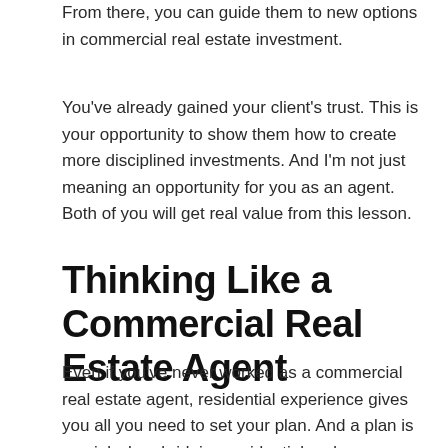From there, you can guide them to new options in commercial real estate investment.
You’ve already gained your client’s trust. This is your opportunity to show them how to create more disciplined investments. And I’m not just meaning an opportunity for you as an agent. Both of you will get real value from this lesson.
Thinking Like a Commercial Real Estate Agent
Even if you’ve never worked as a commercial real estate agent, residential experience gives you all you need to set your plan. And a plan is crucial when bridging residential and commercial real estate in a